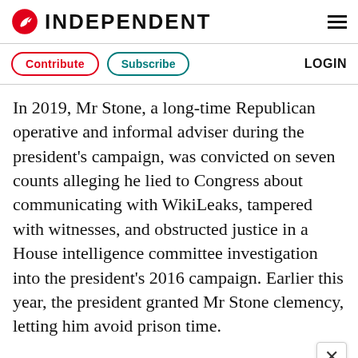INDEPENDENT
Contribute  Subscribe  LOGIN
In 2019, Mr Stone, a long-time Republican operative and informal adviser during the president's campaign, was convicted on seven counts alleging he lied to Congress about communicating with WikiLeaks, tampered with witnesses, and obstructed justice in a House intelligence committee investigation into the president's 2016 campaign. Earlier this year, the president granted Mr Stone clemency, letting him avoid prison time.
Meanwhile, Mr Manafort, who briefly led the